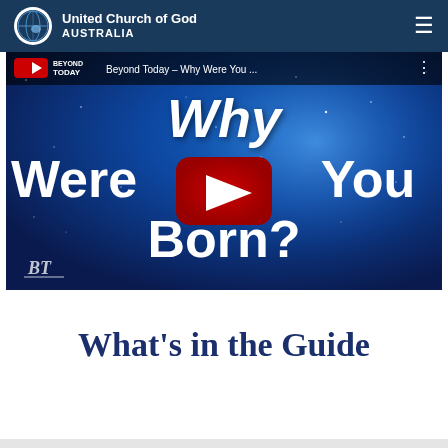United Church of God AUSTRALIA
[Figure (screenshot): YouTube video thumbnail embed showing 'Beyond Today – Why Were You ...' with text 'Why Were You Born?' on a starry blue background with YouTube play button overlay]
What's in the Guide